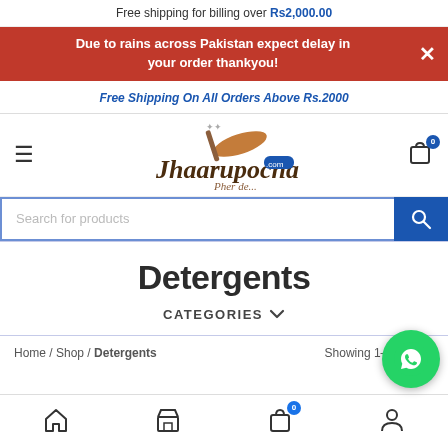Free shipping for billing over Rs2,000.00
Due to rains across Pakistan expect delay in your order thankyou!
Free Shipping On All Orders Above Rs.2000
[Figure (logo): Jhaarupocha.com logo with broom illustration and tagline 'Pher de...']
Search for products
Detergents
CATEGORIES
Home / Shop / Detergents
Showing 1-12 of 1...